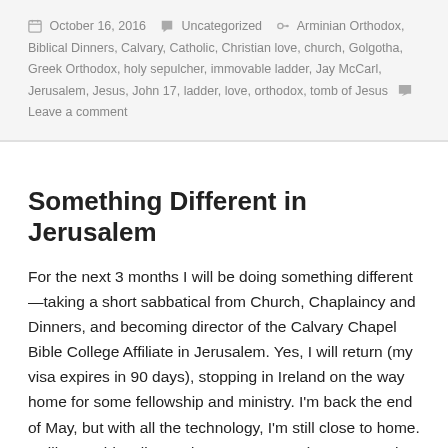October 16, 2016  Uncategorized  Arminian Orthodox, Biblical Dinners, Calvary, Catholic, Christian love, church, Golgotha, Greek Orthodox, holy sepulcher, immovable ladder, Jay McCarl, Jerusalem, Jesus, John 17, ladder, love, orthodox, tomb of Jesus  Leave a comment
Something Different in Jerusalem
For the next 3 months I will be doing something different—taking a short sabbatical from Church, Chaplaincy and Dinners, and becoming director of the Calvary Chapel Bible College Affiliate in Jerusalem. Yes, I will return (my visa expires in 90 days), stopping in Ireland on the way home for some fellowship and ministry. I'm back the end of May, but with all the technology, I'm still close to home. I will post videoclips and some sermons (once a month or so), and my weekly messages and Biblical Dinners will resume May 31. If you want to schedule a Biblical Dinner or Galilean